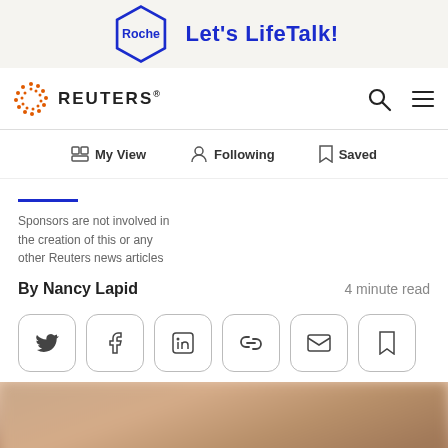[Figure (logo): Roche hexagon logo with text 'Let's LifeTalk!' advertisement banner]
[Figure (logo): Reuters logo with orange dot pattern and REUTERS wordmark, navigation bar with search and menu icons]
[Figure (screenshot): Navigation tabs: My View, Following, Saved]
Sponsors are not involved in the creation of this or any other Reuters news articles
By Nancy Lapid
4 minute read
[Figure (screenshot): Social share buttons: Twitter, Facebook, LinkedIn, Link, Email, Bookmark]
[Figure (photo): Blurred photo of a person, only top of head visible]